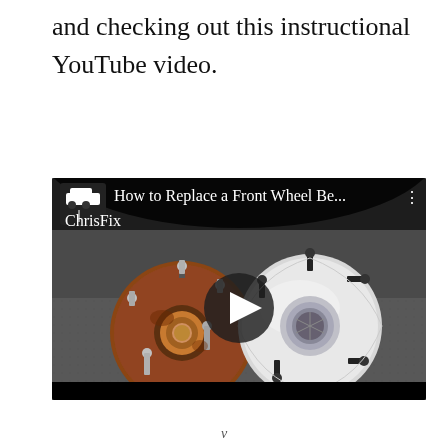and checking out this instructional YouTube video.
[Figure (screenshot): YouTube video thumbnail showing two front wheel hub assemblies side by side — a rusty old one on the left and a shiny new chrome one on the right — on a grey asphalt surface. The video title reads 'How to Replace a Front Wheel Be...' with a ChrisFix channel logo in the top-left corner and a play button in the center.]
V